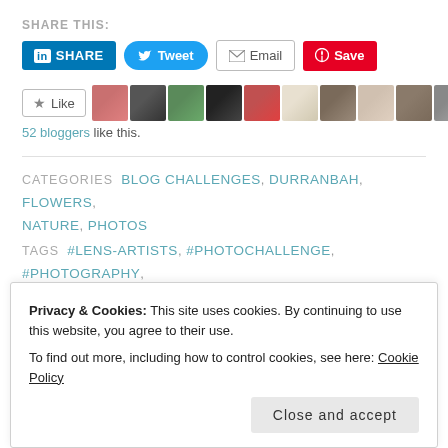SHARE THIS:
[Figure (screenshot): Social share buttons: LinkedIn SHARE, Tweet, Email, Save (Pinterest)]
[Figure (screenshot): Like button with star icon and row of 11 blogger avatar photos. 52 bloggers like this.]
52 bloggers like this.
CATEGORIES BLOG CHALLENGES, DURRANBAH, FLOWERS, NATURE, PHOTOS
TAGS #LENS-ARTISTS, #PHOTOCHALLENGE, #PHOTOGRAPHY, AUSTRALIA, BLOG CHALLENGE, BOTTLEBRUSH, DURRANBAH, FERN, FLAME TREE, GRASS, GREVILLEA, MOSS, POINCIANA, RAINFOREST, RASPBERRY LOOKOUT, TREE FERNS, TREES
Privacy & Cookies: This site uses cookies. By continuing to use this website, you agree to their use. To find out more, including how to control cookies, see here: Cookie Policy
Close and accept
PUBLISHED ON March 28, 2022